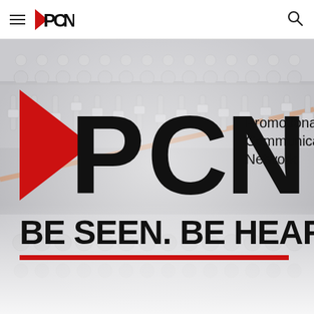PCN navigation bar with hamburger menu, PCN logo, and search icon
[Figure (logo): PCN hero banner with blurred audio mixing board background, large PCN logo with red play-button triangle, text 'Promotional Communications Network', tagline 'BE SEEN. BE HEARD.' and a red horizontal rule]
BE SEEN. BE HEARD.